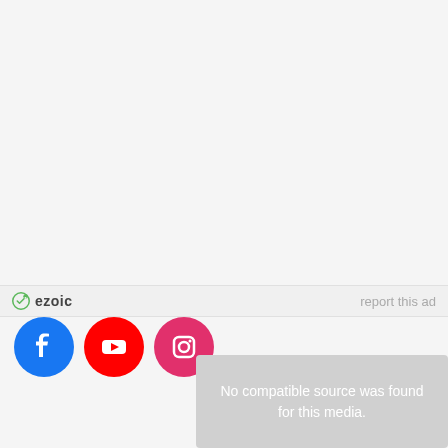[Figure (other): Large blank/white advertisement area at the top of the page]
ezoic   report this ad
[Figure (other): Social media buttons row: Facebook (blue circle), YouTube (red circle), Instagram (pink circle)]
[Figure (other): Video player overlay showing 'No compatible source was found for this media.' with a close X button and a large circular graphic in background]